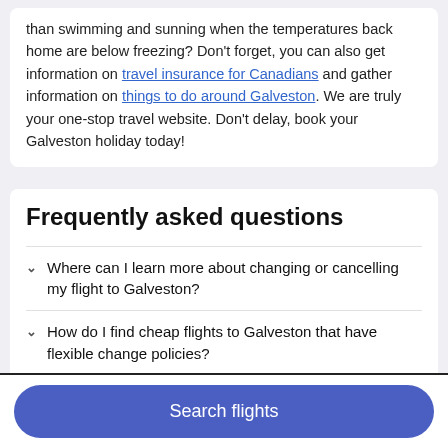than swimming and sunning when the temperatures back home are below freezing? Don't forget, you can also get information on travel insurance for Canadians and gather information on things to do around Galveston. We are truly your one-stop travel website. Don't delay, book your Galveston holiday today!
Frequently asked questions
Where can I learn more about changing or cancelling my flight to Galveston?
How do I find cheap flights to Galveston that have flexible change policies?
Can I fly to Galveston now?
What is the name of Galveston's airport?
Search flights